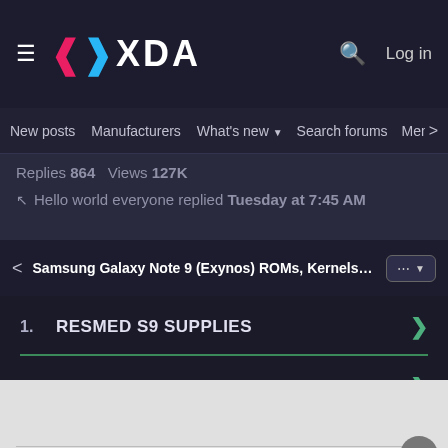XDA — New posts | Manufacturers | What's new | Search forums | Members
Replies 864 Views 127K
Hello world everyone replied Tuesday at 7:45 AM
< Samsung Galaxy Note 9 (Exynos) ROMs, Kernels, Reco ... ···▾
1. RESMED S9 SUPPLIES
2. ROOMBA S9 SALE
SAMSUNG S9 SPECS
Ad | An AMG Site